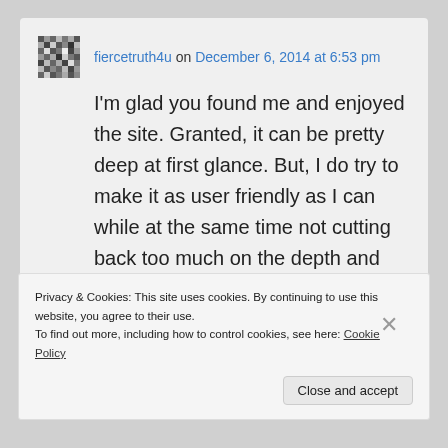fiercetruth4u on December 6, 2014 at 6:53 pm
I'm glad you found me and enjoyed the site. Granted, it can be pretty deep at first glance. But, I do try to make it as user friendly as I can while at the same time not cutting back too much on the depth and breadth that I attempt to cover from one blog to the next. Check back with me soon.
Privacy & Cookies: This site uses cookies. By continuing to use this website, you agree to their use.
To find out more, including how to control cookies, see here: Cookie Policy